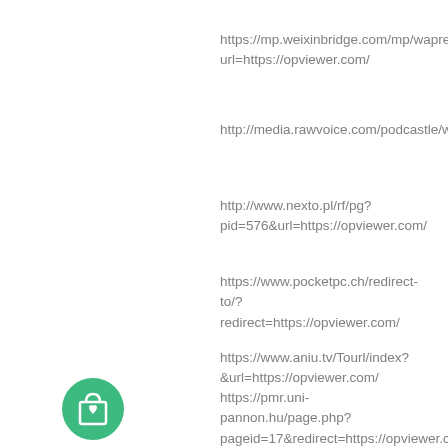https://mp.weixinbridge.com/mp/wapredirect?url=https://opviewer.com/
http://media.rawvoice.com/podcastle/www.https://opvi
http://www.nexto.pl/rf/pg?pid=576&url=https://opviewer.com/
https://www.pocketpc.ch/redirect-to/?redirect=https://opviewer.com/
https://www.aniu.tv/Tourl/index?&url=https://opviewer.com/
[Figure (illustration): Green circle icon with a shopping bag with a heart symbol]
https://pmr.uni-pannon.hu/page.php?pageid=17&redirect=https://opviewer.com/